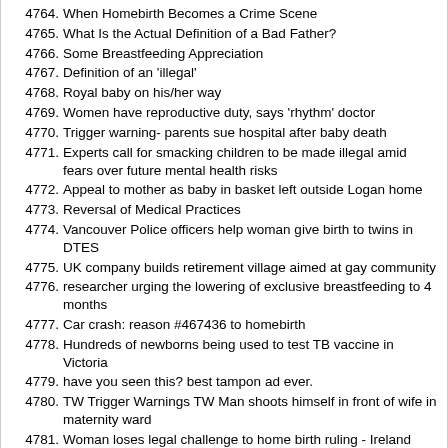4764. When Homebirth Becomes a Crime Scene
4765. What Is the Actual Definition of a Bad Father?
4766. Some Breastfeeding Appreciation
4767. Definition of an 'illegal'
4768. Royal baby on his/her way
4769. Women have reproductive duty, says 'rhythm' doctor
4770. Trigger warning- parents sue hospital after baby death
4771. Experts call for smacking children to be made illegal amid fears over future mental health risks
4772. Appeal to mother as baby in basket left outside Logan home
4773. Reversal of Medical Practices
4774. Vancouver Police officers help woman give birth to twins in DTES
4775. UK company builds retirement village aimed at gay community
4776. researcher urging the lowering of exclusive breastfeeding to 4 months
4777. Car crash: reason #467436 to homebirth
4778. Hundreds of newborns being used to test TB vaccine in Victoria
4779. have you seen this? best tampon ad ever.
4780. TW Trigger Warnings TW Man shoots himself in front of wife in maternity ward
4781. Woman loses legal challenge to home birth ruling - Ireland
4782. SMH: No right or wrong way to give birth
4783. Women in boxes, drive-in sex, and capitalising on women's bodies
4784. Cunnilingus & cancer? Causes? Cures? Ask an actor.